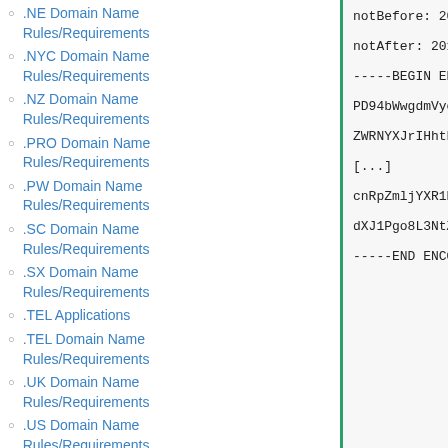.NE Domain Name Rules/Requirements
.NYC Domain Name Rules/Requirements
.NZ Domain Name Rules/Requirements
.PRO Domain Name Rules/Requirements
.PW Domain Name Rules/Requirements
.SC Domain Name Rules/Requirements
.SX Domain Name Rules/Requirements
.TEL Applications
.TEL Domain Name Rules/Requirements
.UK Domain Name Rules/Requirements
.US Domain Name Rules/Requirements
.VC Domain Name
notBefore: 2013-12-
notAfter: 2017-11-
-----BEGIN ENCODED
PD94bWwgdmVyc2lvbj
ZWRNYXJrIHhtbG5zOm
[...]
cnRpZmljYXR1Pgo8L1
dXJ1Pgo8L3NtZDpzaW
-----END ENCODED S